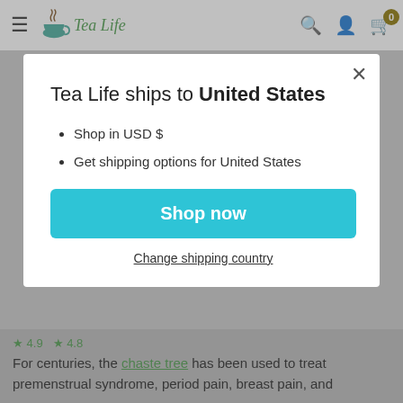Tea Life — navigation bar with hamburger menu, logo, search, account, and cart icons
Tea Life ships to United States
Shop in USD $
Get shipping options for United States
Shop now
Change shipping country
For centuries, the chaste tree has been used to treat premenstrual syndrome, period pain, breast pain, and